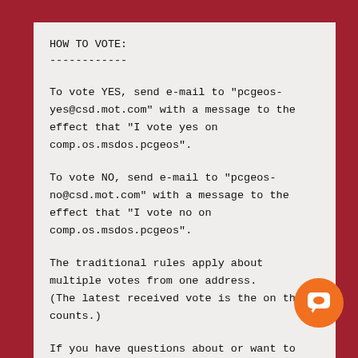HOW TO VOTE:
------------
To vote YES, send e-mail to "pcgeos-yes@csd.mot.com" with a message to the effect that "I vote yes on comp.os.msdos.pcgeos".
To vote NO, send e-mail to "pcgeos-no@csd.mot.com" with a message to the effect that "I vote no on comp.os.msdos.pcgeos".
The traditional rules apply about multiple votes from one address.
(The latest received vote is the on that counts.)
If you have questions about or want to cancel